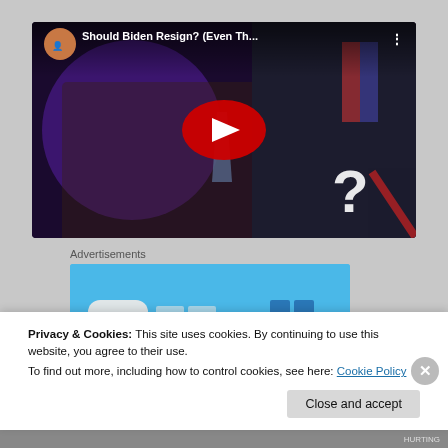[Figure (screenshot): YouTube video thumbnail showing a man with long hair in a suit gesturing with hands and a person bowing at a microphone, with a large play button. Title reads 'Should Biden Resign? (Even Th...' with a channel avatar and three-dot menu.]
Advertisements
[Figure (screenshot): Advertisement banner with blue background and partial UI elements visible.]
Privacy & Cookies: This site uses cookies. By continuing to use this website, you agree to their use.
To find out more, including how to control cookies, see here: Cookie Policy